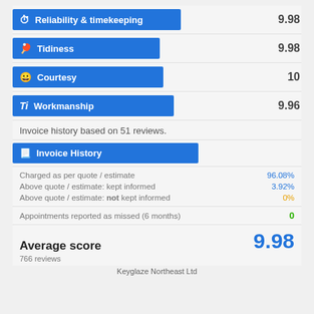[Figure (infographic): Rating bar for Reliability & timekeeping with blue bar and score 9.98]
9.98
[Figure (infographic): Rating bar for Tidiness with blue bar and score 9.98]
9.98
[Figure (infographic): Rating bar for Courtesy with blue bar and score 10]
10
[Figure (infographic): Rating bar for Workmanship with blue bar and score 9.96]
9.96
Invoice history based on 51 reviews.
Invoice History
Charged as per quote / estimate   96.08%
Above quote / estimate: kept informed   3.92%
Above quote / estimate: not kept informed   0%
Appointments reported as missed (6 months)   0
Average score   9.98
766 reviews
Keyglaze Northeast Ltd